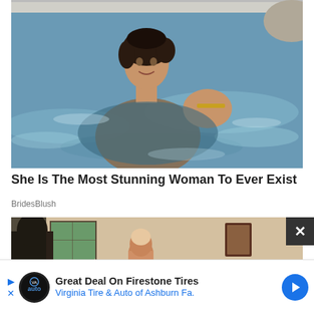[Figure (photo): Woman in a swimming pool, wet short dark hair, smiling at camera, wearing a bikini top, water reflecting light around her]
She Is The Most Stunning Woman To Ever Exist
BridesBlush
[Figure (photo): Indoor scene with people, a window visible in background, framed picture on wall]
Great Deal On Firestone Tires Virginia Tire & Auto of Ashburn Fa.